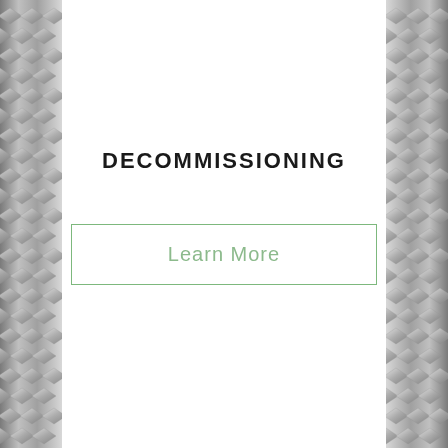[Figure (illustration): Diamond plate metal texture panels on the left and right sides of the page, with a white center panel]
DECOMMISSIONING
Learn More